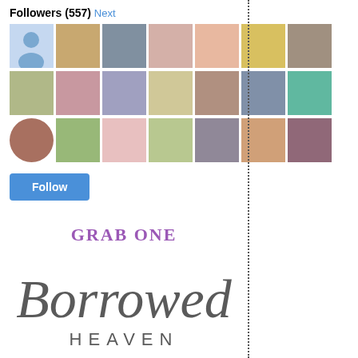Followers (557) Next
[Figure (other): Grid of 21 follower avatar thumbnails, 3 rows of 7 each]
Follow
GRAB ONE
[Figure (logo): Borrowed Heaven blog logo in script and caps lettering, gray color]
<div
- sti